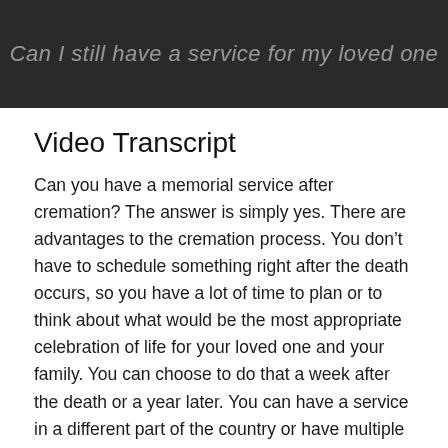[Figure (screenshot): Dark video thumbnail with overlaid italic text reading 'Can I still have a service for my loved one']
Video Transcript
Can you have a memorial service after cremation? The answer is simply yes. There are advantages to the cremation process. You don't have to schedule something right after the death occurs, so you have a lot of time to plan or to think about what would be the most appropriate celebration of life for your loved one and your family. You can choose to do that a week after the death or a year later. You can have a service in a different part of the country or have multiple services at your loved one's favorite spots around the country.
Answers from Other Funeral Directors Around the United States:
Yes, a service for the deceased that after cremation is